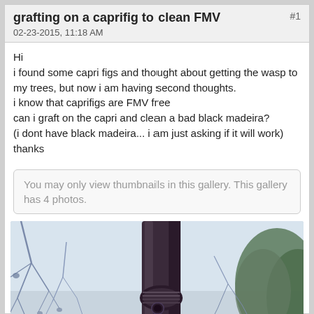grafting on a caprifig to clean FMV
02-23-2015, 11:18 AM
Hi
i found some capri figs and thought about getting the wasp to my trees, but now i am having second thoughts.
i know that caprifigs are FMV free
can i graft on the capri and clean a bad black madeira?
(i dont have black madeira... i am just asking if it will work)
thanks
You may only view thumbnails in this gallery. This gallery has 4 photos.
[Figure (photo): Photo of a fig tree trunk with bare winter branches against a light sky, with a grafting point visible on the trunk and evergreen trees in the background.]